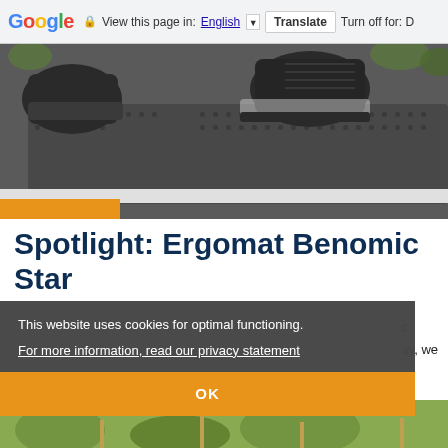Google | View this page in: English [▼] Translate | Turn off for: D
[Figure (photo): Close-up of black work boots standing on a dark rubber anti-fatigue mat with a grid of bumps. The mat is on a white and orange surface. Green plants are visible in the background.]
Spotlight: Ergomat Benomic Star
...c ...ay, we
This website uses cookies for optimal functioning. For more information, read our privacy statement
OK
[Figure (photo): Partial view of a greenhouse or industrial setting with green plants, partially visible at the bottom of the page.]